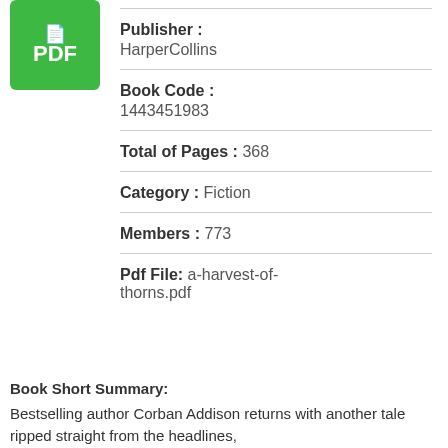[Figure (logo): Green PDF icon button with blue top portion and white PDF text]
Publisher : HarperCollins
Book Code : 1443451983
Total of Pages : 368
Category : Fiction
Members : 773
Pdf File: a-harvest-of-thorns.pdf
Book Short Summary:
Bestselling author Corban Addison returns with another tale ripped straight from the headlines,